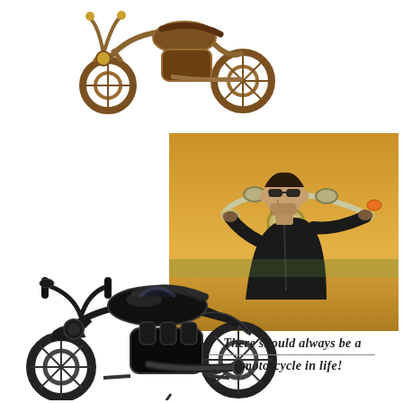[Figure (photo): Bronze/copper colored metal motorcycle model sculpture shown from a side-front angle against a white background, upper portion of image]
[Figure (photo): A man wearing sunglasses and a black leather jacket sitting on a classic cruiser motorcycle, warm golden/amber toned photograph taken outdoors]
[Figure (photo): Black metal motorcycle model/sculpture shown from the left side against a white background, detailed replica of a cruiser motorcycle]
There should always be a motorcycle in life!